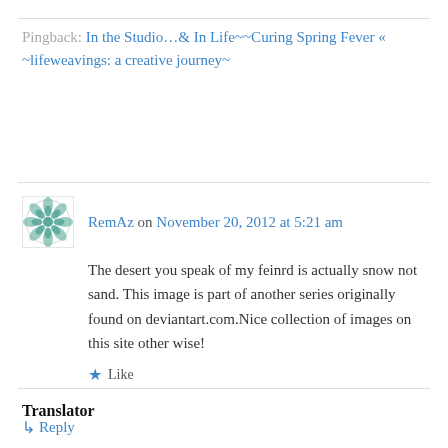Pingback: In the Studio…& In Life~~Curing Spring Fever « ~lifeweavings: a creative journey~
[Figure (illustration): Avatar icon — teal geometric mandala/flower pattern in a square]
RemAz on November 20, 2012 at 5:21 am
The desert you speak of my feinrd is actually snow not sand. This image is part of another series originally found on deviantart.com.Nice collection of images on this site other wise!
★ Like
↳ Reply
Translator